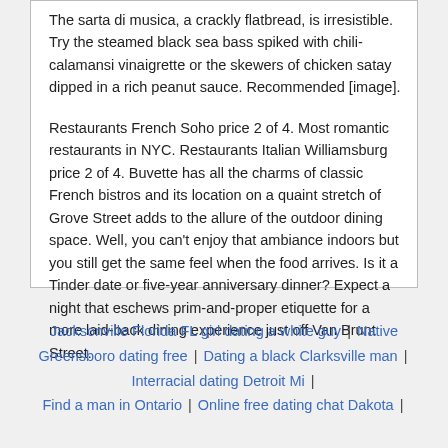The sarta di musica, a crackly flatbread, is irresistible. Try the steamed black sea bass spiked with chili-calamansi vinaigrette or the skewers of chicken satay dipped in a rich peanut sauce. Recommended [image].
Restaurants French Soho price 2 of 4. Most romantic restaurants in NYC. Restaurants Italian Williamsburg price 2 of 4. Buvette has all the charms of classic French bistros and its location on a quaint stretch of Grove Street adds to the allure of the outdoor dining space. Well, you can't enjoy that ambiance indoors but you still get the same feel when the food arrives. Is it a Tinder date or five-year anniversary dinner? Expect a night that eschews prim-and-proper etiquette for a more laid-back dining experience just off Van Brunt Street.
Jacksonville Florida FL girl dating a white guy | Native Greensboro dating free | Dating a black Clarksville man | Interracial dating Detroit Mi | Find a man in Ontario | Online free dating chat Dakota |